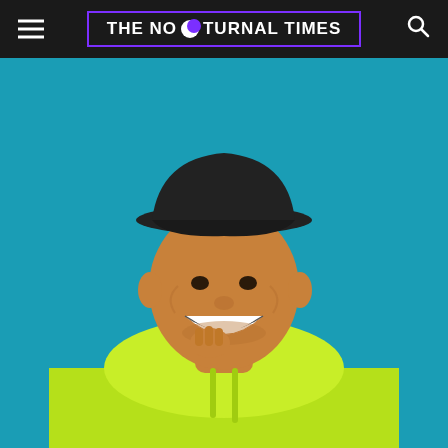THE NOCTURNAL TIMES
[Figure (photo): A young man wearing a black baseball cap and a neon yellow-green hoodie, smiling broadly with his hand raised near his chin, photographed against a bright teal/turquoise background. The photo is a promotional or press-style portrait.]